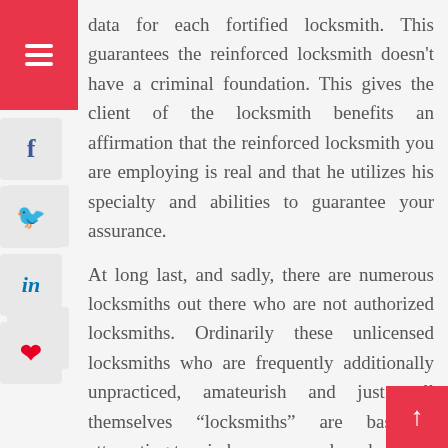data for each fortified locksmith. This guarantees the reinforced locksmith doesn't have a criminal foundation. This gives the client of the locksmith benefits an affirmation that the reinforced locksmith you are employing is real and that he utilizes his specialty and abilities to guarantee your assurance.
At long last, and sadly, there are numerous locksmiths out there who are not authorized locksmiths. Ordinarily these unlicensed locksmiths who are frequently additionally unpracticed, amateurish and just call themselves "locksmiths" are basically attempting to win however much cash as